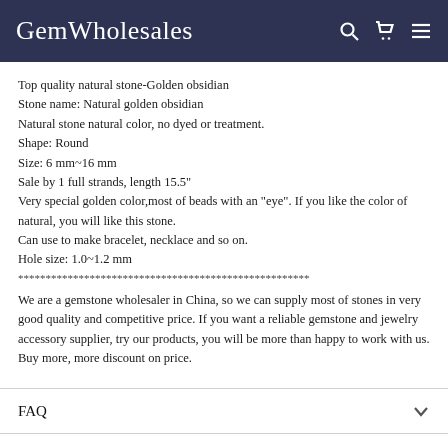GemWholesales
Top quality natural stone-Golden obsidian
Stone name: Natural golden obsidian
Natural stone natural color, no dyed or treatment.
Shape: Round
Size: 6 mm~16 mm
Sale by 1 full strands, length 15.5"
Very special golden color,most of beads with an "eye". If you like the color of natural, you will like this stone.
Can use to make bracelet, necklace and so on.
Hole size: 1.0~1.2 mm
*****************************************************
We are a gemstone wholesaler in China, so we can supply most of stones in very good quality and competitive price. If you want a reliable gemstone and jewelry accessory supplier, try our products, you will be more than happy to work with us.
Buy more, more discount on price.
FAQ
Ask a question